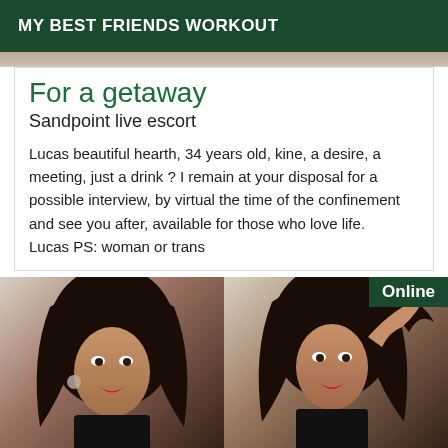MY BEST FRIENDS WORKOUT
[Figure (photo): Partial top image strip visible at top of card area]
For a getaway
Sandpoint live escort
Lucas beautiful hearth, 34 years old, kine, a desire, a meeting, just a drink ? I remain at your disposal for a possible interview, by virtual the time of the confinement and see you after, available for those who love life. Lucas PS: woman or trans
[Figure (photo): Two side-by-side photos of a woman with long dark hair and red lipstick wearing black lingerie. Right photo has an 'Online' badge in the top-right corner.]